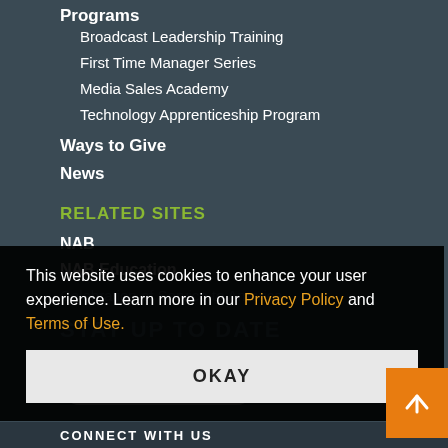Programs
Broadcast Leadership Training
First Time Manager Series
Media Sales Academy
Technology Apprenticeship Program
Ways to Give
News
RELATED SITES
NAB
NAB Education
Celebration of Service to America
STAY UP TO DATE
This website uses cookies to enhance your user experience. Learn more in our Privacy Policy and Terms of Use.
OKAY
Subscribe to...
CONNECT WITH US